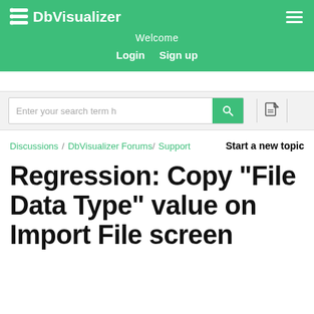DbVisualizer
Welcome
Login   Sign up
Enter your search term h
Discussions / DbVisualizer Forums / Support   Start a new topic
Regression: Copy "File Data Type" value on Import File screen